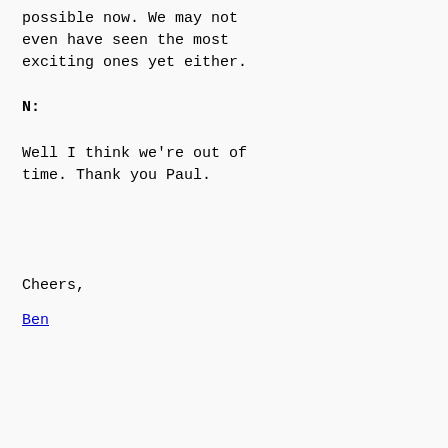possible now. We may not even have seen the most exciting ones yet either.
N:
Well I think we're out of time. Thank you Paul.
Cheers,
Ben